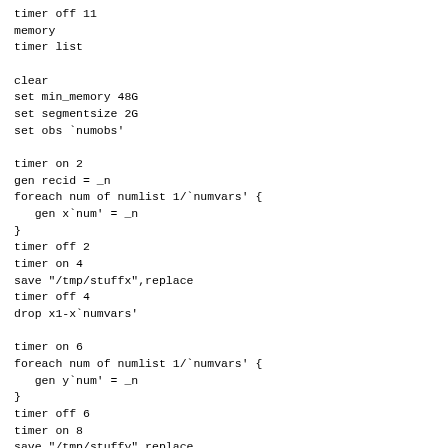timer off 11
memory
timer list

clear
set min_memory 48G
set segmentsize 2G
set obs `numobs'

timer on 2
gen recid = _n
foreach num of numlist 1/`numvars' {
   gen x`num' = _n
}
timer off 2
timer on 4
save "/tmp/stuffx",replace
timer off 4
drop x1-x`numvars'

timer on 6
foreach num of numlist 1/`numvars' {
   gen y`num' = _n
}
timer off 6
timer on 8
save "/tmp/stuffy",replace
timer off 8
clear